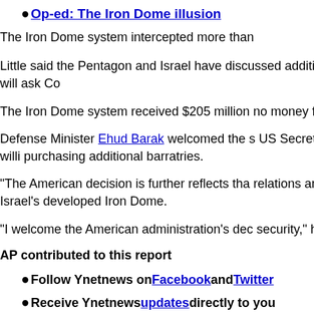Op-ed: The Iron Dome illusion
The Iron Dome system intercepted more than
Little said the Pentagon and Israel have discussed additional Iron Dome systems and will ask Co
The Iron Dome system received $205 million no money for the program.
Defense Minister Ehud Barak welcomed the s US Secretary of Defense Leon Panetta's willi purchasing additional barratries.
"The American decision is further reflects tha relations and it's a badge of honor to Israel's developed Iron Dome.
"I welcome the American administration's dec security," he said.
AP contributed to this report
Follow Ynetnews on Facebook and Twitter
Receive Ynetnews updates directly to you